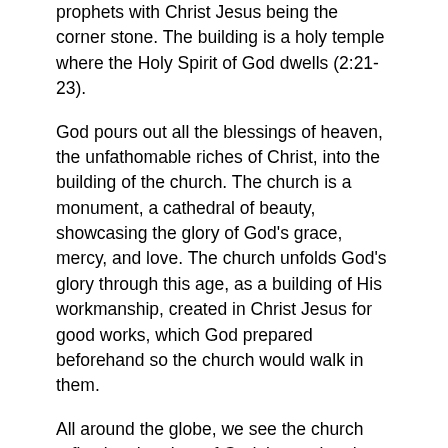prophets with Christ Jesus being the corner stone. The building is a holy temple where the Holy Spirit of God dwells (2:21-23).
God pours out all the blessings of heaven, the unfathomable riches of Christ, into the building of the church. The church is a monument, a cathedral of beauty, showcasing the glory of God's grace, mercy, and love. The church unfolds God's glory through this age, as a building of His workmanship, created in Christ Jesus for good works, which God prepared beforehand so the church would walk in them.
All around the globe, we see the church reflecting the glory of God, by turning the cheek, forgiving one another, showing compassion, being generous, living holy lives, speaking truth, standing for what is just, and worshipping the glory of God's work and the glory of God's beloved Son.
As the church, the bride, the temple of God, is on display, the rulers, and the authorities in the heavenly